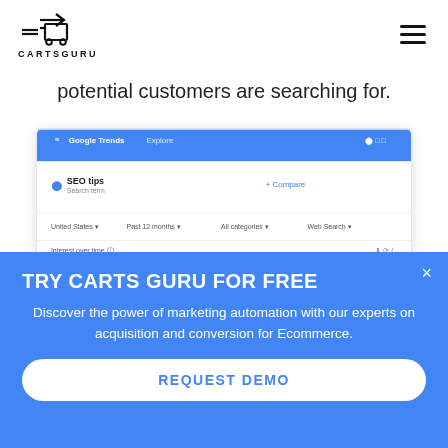[Figure (logo): CartsGuru logo with cart icon and text CARTSGURU]
potential customers are searching for.
[Figure (screenshot): Google Trends screenshot showing 'SEO tips' search term with a line chart trending upward over time]
TRY CARTS GURU FOR FREE
Discover the power of marketing automation with our experts on acquisition and conversion for Ecommerce.
REQUEST DEMO